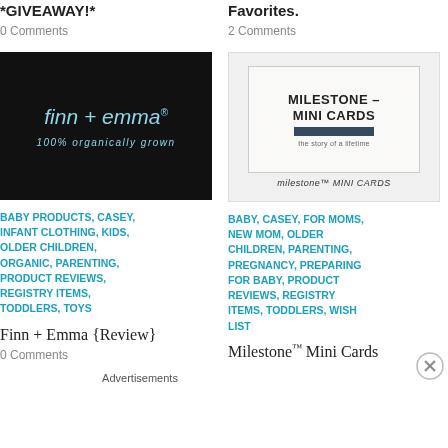*GIVEAWAY!*
0 Comments
Favorites.
2 Comments
[Figure (photo): Finn + Emma 100% Organically Grown logo on black background]
[Figure (photo): Milestone Mini Cards product packaging]
BABY PRODUCTS, CASEY, INFANT CLOTHING, KIDS, OLDER CHILDREN, ORGANIC, PARENTING, PRODUCT REVIEWS, REGISTRY ITEMS, TODDLERS, TOYS
BABY, CASEY, FOR MOMS, NEW MOM, OLDER CHILDREN, PARENTING, PREGNANCY, PREPARING FOR BABY, PRODUCT REVIEWS, REGISTRY ITEMS, TODDLERS, WISH LIST
Finn + Emma {Review}
Milestone™ Mini Cards
0 Comments
Advertisements